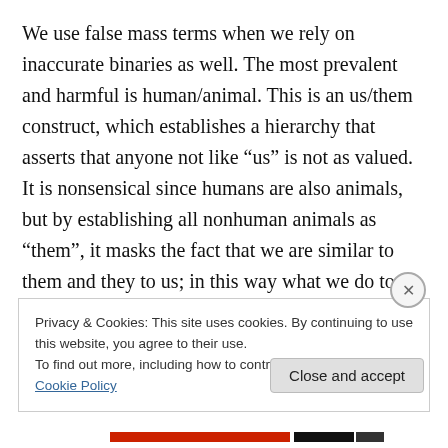We use false mass terms when we rely on inaccurate binaries as well. The most prevalent and harmful is human/animal. This is an us/them construct, which establishes a hierarchy that asserts that anyone not like “us” is not as valued. It is nonsensical since humans are also animals, but by establishing all nonhuman animals as “them”, it masks the fact that we are similar to them and they to us; in this way what we do to them can more easily leave our consciousness.
False mass terms are just another way we thing-ify living
Privacy & Cookies: This site uses cookies. By continuing to use this website, you agree to their use.
To find out more, including how to control cookies, see here: Cookie Policy